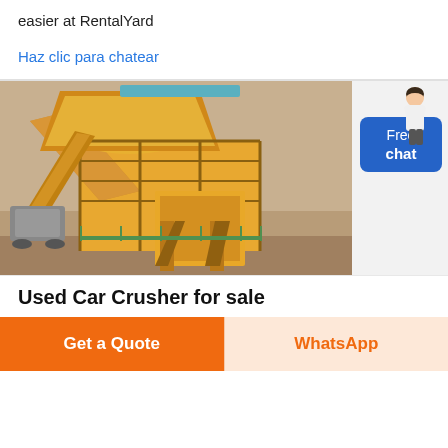easier at RentalYard
Haz clic para chatear
[Figure (photo): Large yellow industrial mining/crushing machine with conveyor belts and scaffolding, photographed outdoors at a quarry or mining site.]
Used Car Crusher for sale
Get a Quote
WhatsApp